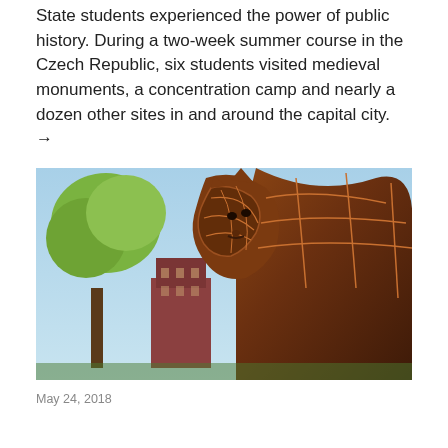State students experienced the power of public history. During a two-week summer course in the Czech Republic, six students visited medieval monuments, a concentration camp and nearly a dozen other sites in and around the capital city. →
[Figure (photo): A large metal sculpture of a wildcat (cougar/lion) viewed from below against a blue sky, surrounded by trees with autumn foliage, with brick university buildings visible in the background.]
May 24, 2018